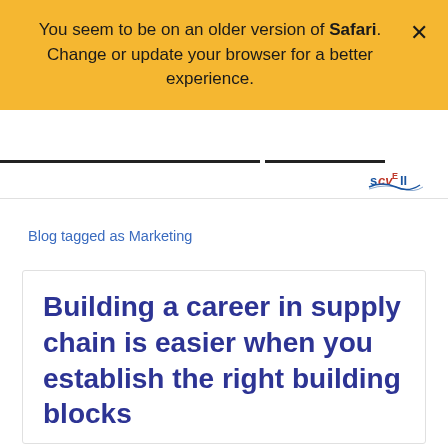You seem to be on an older version of Safari. Change or update your browser for a better experience.
Blog tagged as Marketing
Building a career in supply chain is easier when you establish the right building blocks